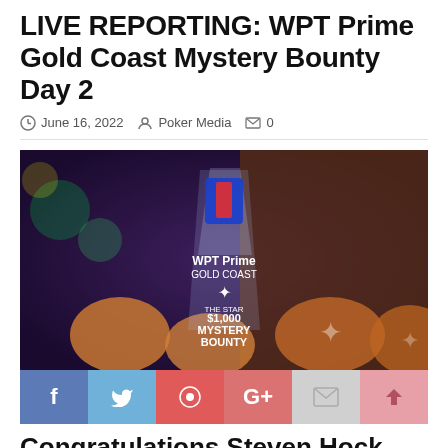LIVE REPORTING: WPT Prime Gold Coast Mystery Bounty Day 2
June 16, 2022  Poker Media  0
[Figure (photo): WPT Prime Gold Coast Mystery Bounty trophy — a clear crystal award with WPT Prime logo and The Star branding showing '$1,000 MYSTERY BOUNTY', surrounded by poker chips/cookies with star designs on an orange/purple background.]
Social share buttons: Facebook, Twitter, Pinterest, Google+, Email, Scroll-to-top
Congratulations Steven Hock